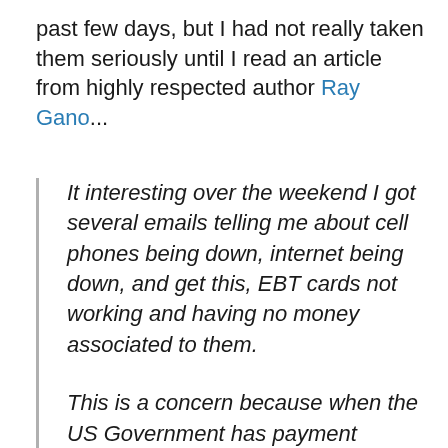past few days, but I had not really taken them seriously until I read an article from highly respected author Ray Gano...
It interesting over the weekend I got several emails telling me about cell phones being down, internet being down, and get this, EBT cards not working and having no money associated to them.
This is a concern because when the US Government has payment failures, then there is possibly something happening that the